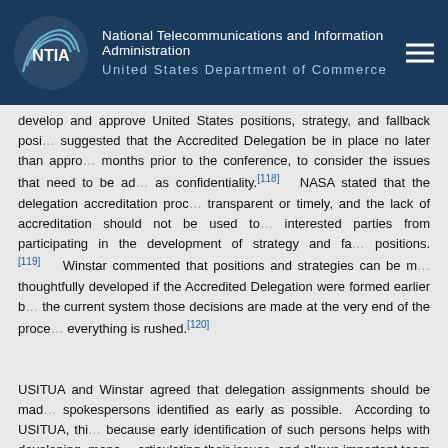National Telecommunications and Information Administration | United States Department of Commerce
develop and approve United States positions, strategy, and fallback positions. suggested that the Accredited Delegation be in place no later than approximately months prior to the conference, to consider the issues that need to be addressed as confidentiality.[118] NASA stated that the delegation accreditation process was not transparent or timely, and the lack of accreditation should not be used to bar interested parties from participating in the development of strategy and fallback positions.[119] Winstar commented that positions and strategies can be more thoughtfully developed if the Accredited Delegation were formed earlier because in the current system those decisions are made at the very end of the process, when everything is rushed.[120]
USITUA and Winstar agreed that delegation assignments should be made and spokespersons identified as early as possible. According to USITUA, this is important because early identification of such persons helps with developing, managing, and articulating their issues, and allows important team building with interested parties.[121] NASA was more specific in establishing a timeframe. NASA asserted that spokespersons should be identified about five months prior to the WRC, and that WRC spokespersons do not need to be the same as CPM-2 spokespersons.